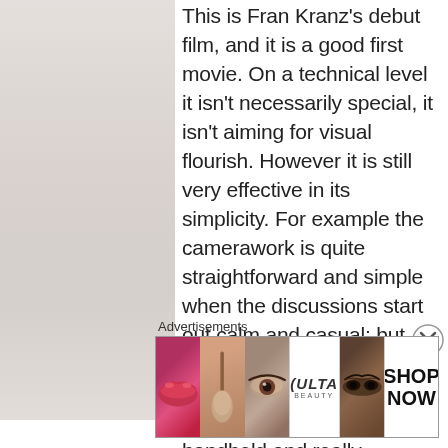This is Fran Kranz's debut film, and it is a good first movie. On a technical level it isn't necessarily special, it isn't aiming for visual flourish. However it is still very effective in its simplicity. For example the camerawork is quite straightforward and simple when the discussions start out calm and casual; but when the meeting gets more heated the camerawork changes to handheld and really captures the tight environment the central characters are in. There's also
Advertisements
[Figure (other): Advertisement banner for ULTA Beauty showing makeup imagery including lips, brush, eye, ULTA logo, smoky eye, and SHOP NOW button]